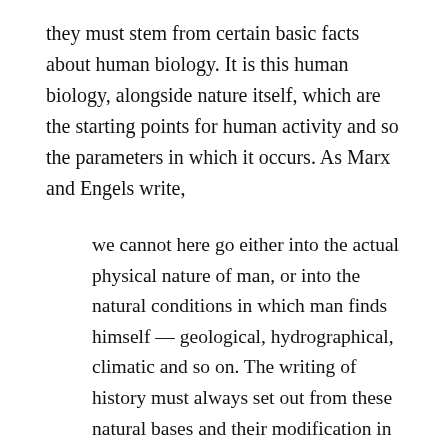they must stem from certain basic facts about human biology. It is this human biology, alongside nature itself, which are the starting points for human activity and so the parameters in which it occurs. As Marx and Engels write,
we cannot here go either into the actual physical nature of man, or into the natural conditions in which man finds himself — geological, hydrographical, climatic and so on. The writing of history must always set out from these natural bases and their modification in the course of history through the action of men. (Marx & Engels 1968, First Premises of Materialist Method)
Crucially, these “natural bases” – human nature and the natural environment – are modified “in the course